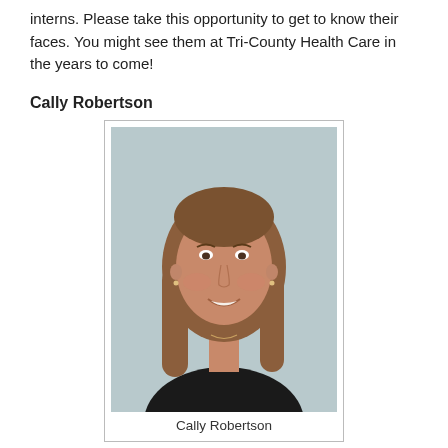interns. Please take this opportunity to get to know their faces. You might see them at Tri-County Health Care in the years to come!
Cally Robertson
[Figure (photo): Portrait photo of Cally Robertson, a young woman with long brown hair wearing a dark top, smiling, against a light blue-grey background.]
Cally Robertson